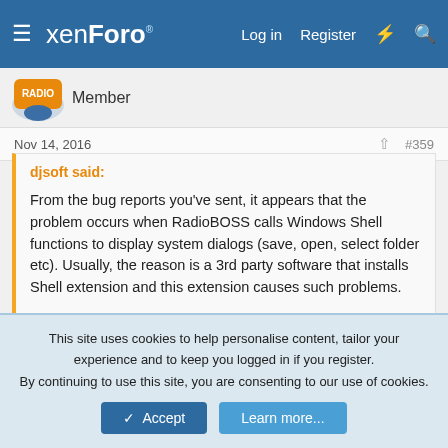xenForo — Log in   Register
Member
Nov 14, 2016   #359
djsoft said:
From the bug reports you've sent, it appears that the problem occurs when RadioBOSS calls Windows Shell functions to display system dialogs (save, open, select folder etc). Usually, the reason is a 3rd party software that installs Shell extension and this extension causes such problems.
If you can recall what software you've installed recently, then removing it should solve the problem. Also, suggest to perform virus...
Click to expand...
This site uses cookies to help personalise content, tailor your experience and to keep you logged in if you register.
By continuing to use this site, you are consenting to our use of cookies.